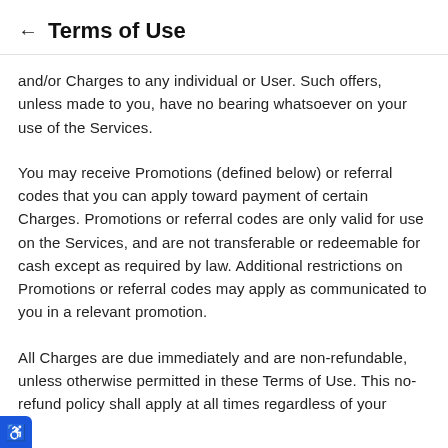← Terms of Use
and/or Charges to any individual or User. Such offers, unless made to you, have no bearing whatsoever on your use of the Services.
You may receive Promotions (defined below) or referral codes that you can apply toward payment of certain Charges. Promotions or referral codes are only valid for use on the Services, and are not transferable or redeemable for cash except as required by law. Additional restrictions on Promotions or referral codes may apply as communicated to you in a relevant promotion.
All Charges are due immediately and are non-refundable, unless otherwise permitted in these Terms of Use. This no-refund policy shall apply at all times regardless of your